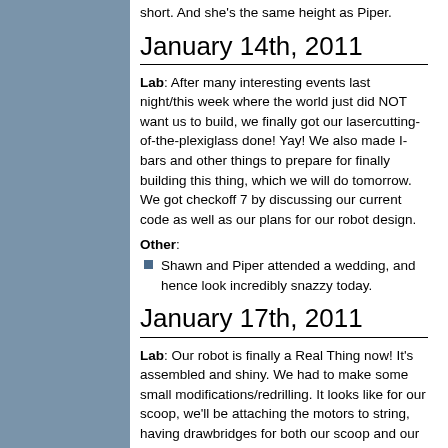short. And she's the same height as Piper.
January 14th, 2011
Lab: After many interesting events last night/this week where the world just did NOT want us to build, we finally got our lasercutting-of-the-plexiglass done! Yay! We also made I-bars and other things to prepare for finally building this thing, which we will do tomorrow. We got checkoff 7 by discussing our current code as well as our plans for our robot design.
Other:
Shawn and Piper attended a wedding, and hence look incredibly snazzy today.
January 17th, 2011
Lab: Our robot is finally a Real Thing now! It's assembled and shiny. We had to make some small modifications/redrilling. It looks like for our scoop, we'll be attaching the motors to string, having drawbridges for both our scoop and our open door. The Plexiglas might distort